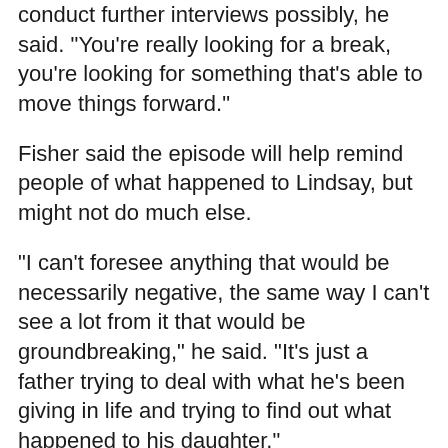conduct further interviews possibly, he said. "You're really looking for a break, you're looking for something that's able to move things forward."
Fisher said the episode will help remind people of what happened to Lindsay, but might not do much else.
"I can't foresee anything that would be necessarily negative, the same way I can't see a lot from it that would be groundbreaking," he said. "It's just a father trying to deal with what he's been giving in life and trying to find out what happened to his daughter."
The interview ended on an appeal to those who might know anything, no matter how insignificant it may seem, in Lindsay's murder.
"Somebody did this heinous crime and people that do this kind of thing, they talk, they tell somebody. Somebody has heard something about this," said Dr. Phil as a picture of Lindsay appeared on a monitor.